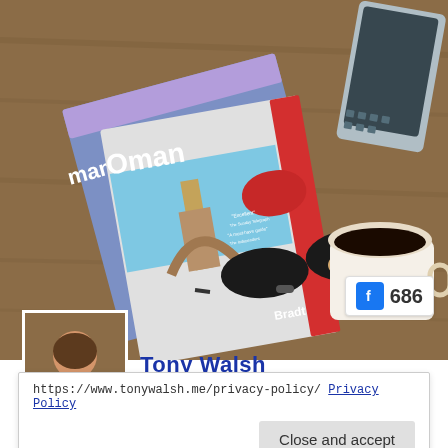[Figure (photo): Photo of Oman travel guide books (Bradt, editions 4 and 5) on a wooden desk, with sunglasses, a coffee cup, a plant, and a laptop keyboard visible. A small avatar of a man and a Facebook like counter showing 686 are overlaid.]
Tony Walsh
https://www.tonywalsh.me/privacy-policy/ Privacy Policy
Close and accept
@RealTonyWalsh –